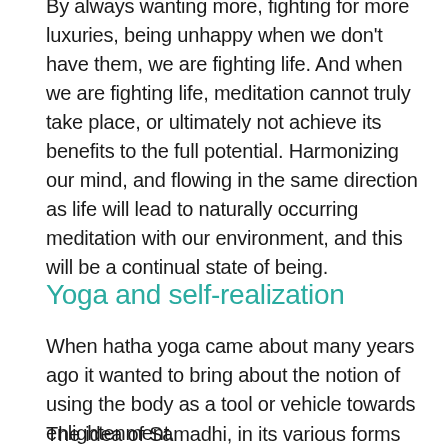By always wanting more, fighting for more luxuries, being unhappy when we don't have them, we are fighting life. And when we are fighting life, meditation cannot truly take place, or ultimately not achieve its benefits to the full potential. Harmonizing our mind, and flowing in the same direction as life will lead to naturally occurring meditation with our environment, and this will be a continual state of being.
Yoga and self-realization
When hatha yoga came about many years ago it wanted to bring about the notion of using the body as a tool or vehicle towards enlightenment.
The idea of Samadhi, in its various forms and